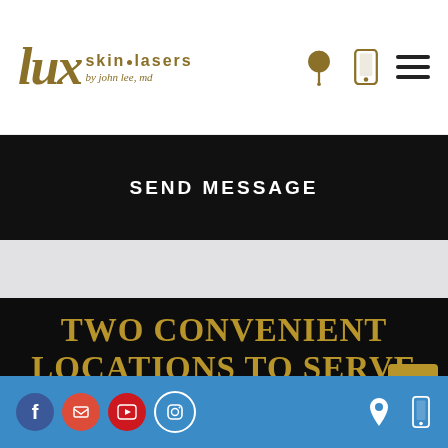[Figure (logo): Lux Skin Lasers by John Lee MD logo with location pin, phone, and menu icons]
SEND MESSAGE
TWO CONVENIENT LOCATIONS TO SERVE YOU
King Of Prussia
Monday - Saturday
Social media icons (Facebook, Google, YouTube, Instagram) and location/phone icons